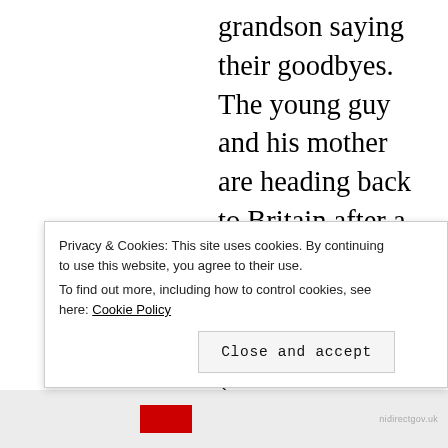grandson saying their goodbyes. The young guy and his mother are heading back to Britain after a visit with Grandma. The mother has RP (Retinitis Pigmentosa). She carries a cane, but the son speaks of wanting his mother to have companionship with a guide dog, as he will soon be going out on his own and doesn't want her to be alone. He has worried about her safety all his life. She admits to being unsure about
Privacy & Cookies: This site uses cookies. By continuing to use this website, you agree to their use.
To find out more, including how to control cookies, see here: Cookie Policy
Close and accept